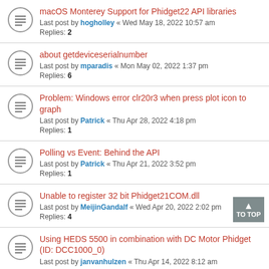macOS Monterey Support for Phidget22 API libraries
Last post by hogholley « Wed May 18, 2022 10:57 am
Replies: 2
about getdeviceserialnumber
Last post by mparadis « Mon May 02, 2022 1:37 pm
Replies: 6
Problem: Windows error clr20r3 when press plot icon to graph
Last post by Patrick « Thu Apr 28, 2022 4:18 pm
Replies: 1
Polling vs Event: Behind the API
Last post by Patrick « Thu Apr 21, 2022 3:52 pm
Replies: 1
Unable to register 32 bit Phidget21COM.dll
Last post by MeijinGandalf « Wed Apr 20, 2022 2:02 pm
Replies: 4
Using HEDS 5500 in combination with DC Motor Phidget (ID: DCC1000_0)
Last post by janvanhulzen « Thu Apr 14, 2022 8:12 am